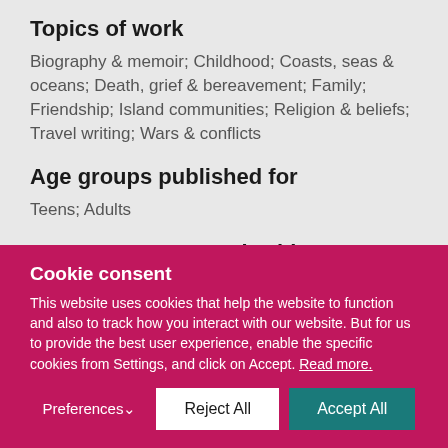Topics of work
Biography & memoir; Childhood; Coasts, seas & oceans; Death, grief & bereavement; Family; Friendship; Island communities; Religion & beliefs; Travel writing; Wars & conflicts
Age groups published for
Teens; Adults
Age groups can work with
9-11; 12-14; 15-18; 18+
Audience size
Cookie consent
This website uses cookies that help the website to function and also to track how you interact with our website. But for us to provide the best user experience, enable the specific cookies from Settings, and click on Accept. Read more.